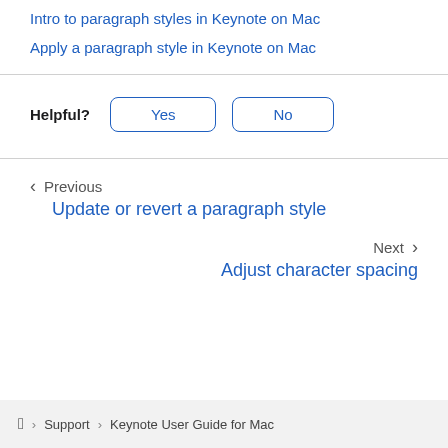Intro to paragraph styles in Keynote on Mac
Apply a paragraph style in Keynote on Mac
Helpful? Yes No
Previous
Update or revert a paragraph style
Next
Adjust character spacing
Apple  >  Support  >  Keynote User Guide for Mac